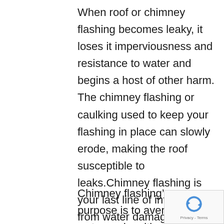When roof or chimney flashing becomes leaky, it loses it imperviousness and resistance to water and begins a host of other harm. The chimney flashing or caulking used to keep your flashing in place can slowly erode, making the roof susceptible to leaks.Chimney flashing is your last line of integrity from water damage.
Chimney flashing’s purpose is to avert rain water and melting snow.
[Figure (logo): Google reCAPTCHA badge with rotating arrows logo and Privacy - Terms text]